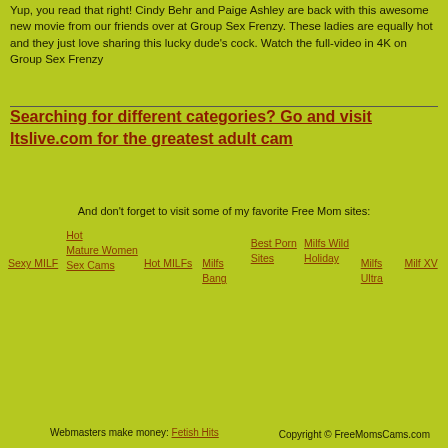Yup, you read that right! Cindy Behr and Paige Ashley are back with this awesome new movie from our friends over at Group Sex Frenzy. These ladies are equally hot and they just love sharing this lucky dude's cock. Watch the full-video in 4K on Group Sex Frenzy
Searching for different categories? Go and visit Itslive.com for the greatest adult cam
And don't forget to visit some of my favorite Free Mom sites:
Sexy MILF
Hot
Mature
Women
Sex
Cams
Hot MILFs
Milfs Bang
Best Porn Sites
Milfs Wild Holiday
Milfs Ultra
Milf XV
Webmasters make money: Fetish Hits    Copyright © FreeMomsCams.com